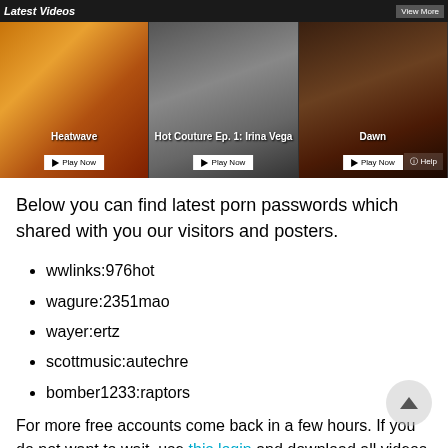[Figure (screenshot): Screenshot of a video website showing 'Latest Videos' banner with three video thumbnails: Heatwave, Hot Couture Ep. 1: Irina Vega, and Dawn, each with a Play Now button.]
Below you can find latest porn passwords which shared with you our visitors and posters.
wwlinks:976hot
wagure:2351mao
wayer:ertz
scottmusic:autechre
bomber1233:raptors
For more free accounts come back in a few hours. If you do not want to wait, use this login and download all videos and